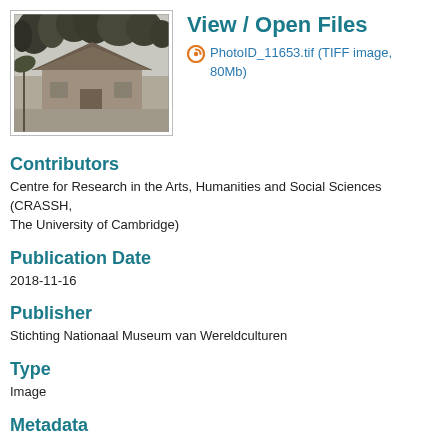[Figure (photo): Black and white photograph of a thatched-roof building surrounded by tropical trees]
View / Open Files
PhotoID_11653.tif (TIFF image, 80Mb)
Contributors
Centre for Research in the Arts, Humanities and Social Sciences (CRASSH, The University of Cambridge)
Publication Date
2018-11-16
Publisher
Stichting Nationaal Museum van Wereldculturen
Type
Image
Metadata